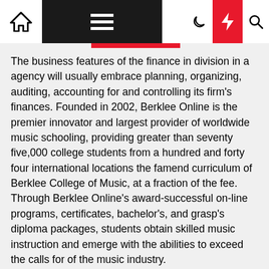Navigation bar with home icon, hamburger menu, moon icon, lightning bolt icon, and search icon
The business features of the finance in division in a agency will usually embrace planning, organizing, auditing, accounting for and controlling its firm's finances. Founded in 2002, Berklee Online is the premier innovator and largest provider of worldwide music schooling, providing greater than seventy five,000 college students from a hundred and forty four international locations the famend curriculum of Berklee College of Music, at a fraction of the fee. Through Berklee Online's award-successful on-line programs, certificates, bachelor's, and grasp's diploma packages, students obtain skilled music instruction and emerge with the abilities to exceed the calls for of the music industry.
Lets Construct Your Small Business Together